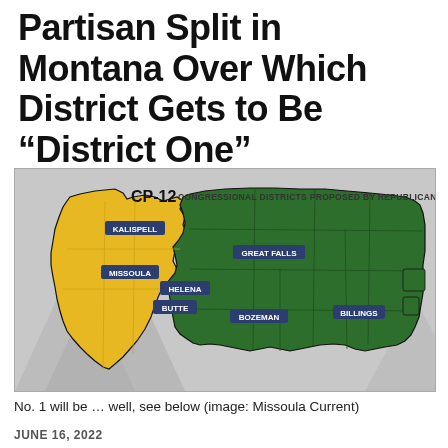Partisan Split in Montana Over Which District Gets to Be "District One"
[Figure (map): CP-12 Congressional Districts Proposed by Republicans. Map of Montana divided into two congressional districts: western portion shown in yellow/gold (with city labels: Kalispell, Missoula, Helena, Butte) and eastern/larger portion shown in dark green (with city labels: Great Falls, Billings, Bozeman). Background is gray with a stylized mountain graphic.]
No. 1 will be … well, see below (image: Missoula Current)
JUNE 16, 2022